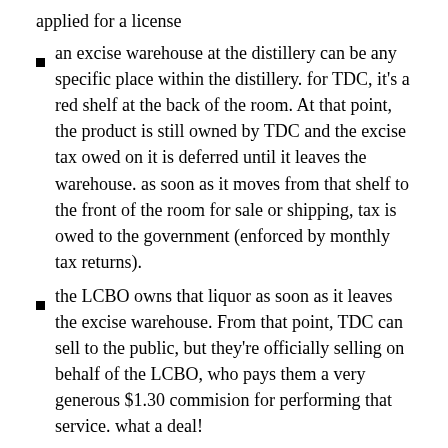…which enabled you to buy a still so long as you had applied for a license
an excise warehouse at the distillery can be any specific place within the distillery. for TDC, it's a red shelf at the back of the room. At that point, the product is still owned by TDC and the excise tax owed on it is deferred until it leaves the warehouse. as soon as it moves from that shelf to the front of the room for sale or shipping, tax is owed to the government (enforced by monthly tax returns).
the LCBO owns that liquor as soon as it leaves the excise warehouse. From that point, TDC can sell to the public, but they're officially selling on behalf of the LCBO, who pays them a very generous $1.30 commision for performing that service. what a deal!
TDC sources their grain from K2 milling and it all comes from local farms in the Schomburg area north of Toronto. their batches don't get blended, so terroir/climate patterns will affect the flavour. They also …